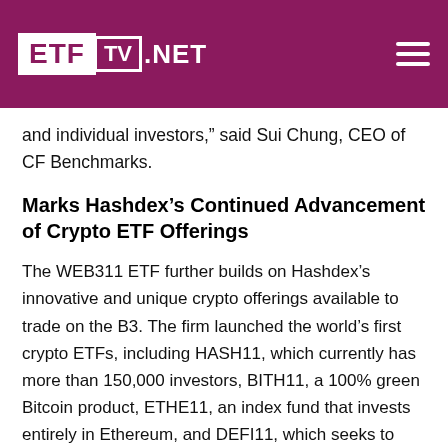ETF TV .NET
and individual investors,” said Sui Chung, CEO of CF Benchmarks.
Marks Hashdex’s Continued Advancement of Crypto ETF Offerings
The WEB311 ETF further builds on Hashdex’s innovative and unique crypto offerings available to trade on the B3. The firm launched the world’s first crypto ETFs, including HASH11, which currently has more than 150,000 investors, BITH11, a 100% green Bitcoin product, ETHE11, an index fund that invests entirely in Ethereum, and DEFI11, which seeks to offer investors diversified, secure, and regulated exposure in all segments of the DeFi ecosystem.
About Hashdex